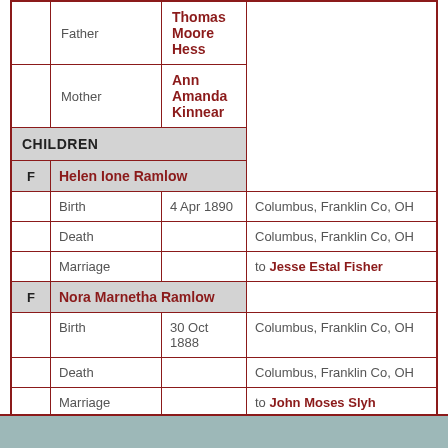| Father | Thomas Moore Hess |
| Mother | Ann Amanda Kinnear |
| CHILDREN |  |
| F | Helen Ione Ramlow |
| Birth | 4 Apr 1890 | Columbus, Franklin Co, OH |
| Death |  | Columbus, Franklin Co, OH |
| Marriage |  | to Jesse Estal Fisher |
| F | Nora Marnetha Ramlow |
| Birth | 30 Oct 1888 | Columbus, Franklin Co, OH |
| Death |  | Columbus, Franklin Co, OH |
| Marriage |  | to John Moses Slyh |